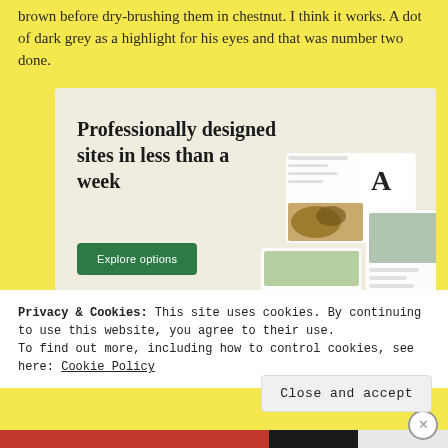brown before dry-brushing them in chestnut. I think it works. A dot of dark grey as a highlight for his eyes and that was number two done.
[Figure (screenshot): Advertisement banner with beige background. Large serif text reads 'Professionally designed sites in less than a week'. A green button labeled 'Explore options'. Right side shows a screenshot of website builder interfaces.]
Privacy & Cookies: This site uses cookies. By continuing to use this website, you agree to their use.
To find out more, including how to control cookies, see here: Cookie Policy
Close and accept